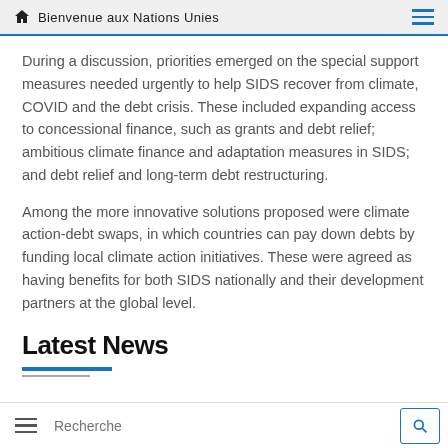Bienvenue aux Nations Unies
During a discussion, priorities emerged on the special support measures needed urgently to help SIDS recover from climate, COVID and the debt crisis. These included expanding access to concessional finance, such as grants and debt relief; ambitious climate finance and adaptation measures in SIDS; and debt relief and long-term debt restructuring.
Among the more innovative solutions proposed were climate action-debt swaps, in which countries can pay down debts by funding local climate action initiatives. These were agreed as having benefits for both SIDS nationally and their development partners at the global level.
Latest News